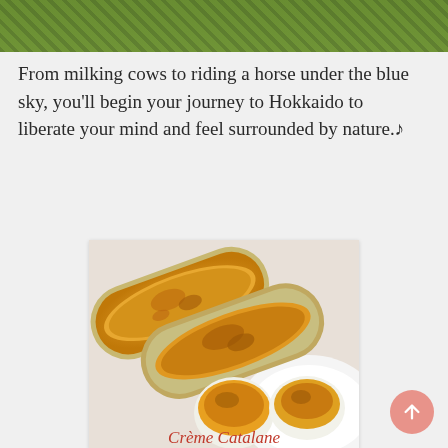[Figure (photo): Green grassy field / outdoor photo at the top of the page]
From milking cows to riding a horse under the blue sky, you'll begin your journey to Hokkaido to liberate your mind and feel surrounded by nature.♪
[Figure (photo): Food photo showing crème brûlée or similar custard desserts in rectangular aluminum foil trays, with rounded individual portions on a white plate]
Crème Catalane